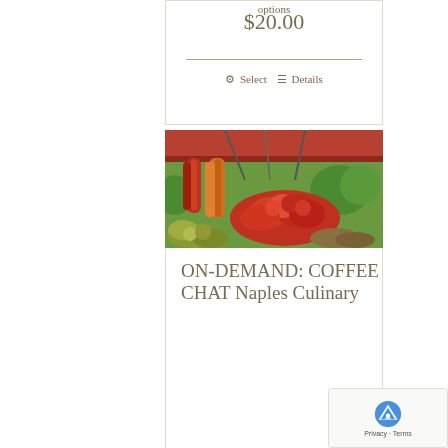$20.00
Select options   Details
[Figure (photo): Outdoor market stall showing hanging dried red and orange peppers/chilis, clusters of tomatoes in red, and green/yellow fruits below, under a red canopy]
ON-DEMAND: COFFEE CHAT Naples Culinary